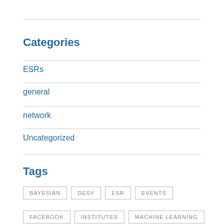Categories
ESRs
general
network
Uncategorized
Tags
BAYESIAN
DESY
ESR
EVENTS
FACEBOOK
INSTITUTES
MACHINE LEARNING